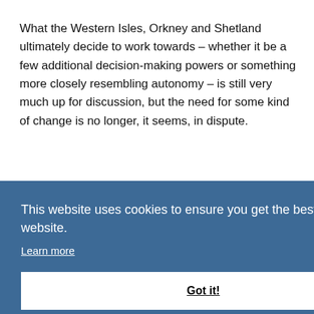What the Western Isles, Orkney and Shetland ultimately decide to work towards – whether it be a few additional decision-making powers or something more closely resembling autonomy – is still very much up for discussion, but the need for some kind of change is no longer, it seems, in dispute.
This website uses cookies to ensure you get the best experience on our website.
Learn more
Got it!
marine resources and energy, as well as